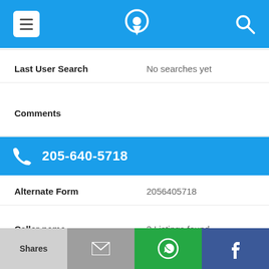[Figure (screenshot): Top navigation bar with hamburger menu icon, phone/location logo, and search icon on blue background]
Last User Search    No searches yet
Comments
205-640-5718
Alternate Form    2056405718
Caller name    3 Listings found
Last User Search    No searches yet
[Figure (screenshot): Bottom share bar with Shares button, email icon, WhatsApp icon, and Facebook icon]